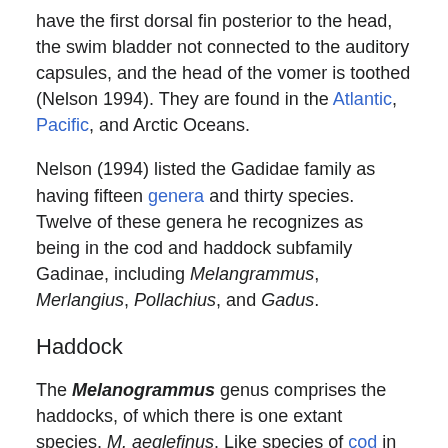have the first dorsal fin posterior to the head, the swim bladder not connected to the auditory capsules, and the head of the vomer is toothed (Nelson 1994). They are found in the Atlantic, Pacific, and Arctic Oceans.
Nelson (1994) listed the Gadidae family as having fifteen genera and thirty species. Twelve of these genera he recognizes as being in the cod and haddock subfamily Gadinae, including Melangrammus, Merlangius, Pollachius, and Gadus.
Haddock
The Melanogrammus genus comprises the haddocks, of which there is one extant species, M. aeglefinus. Like species of cod in Gadinae, it has three separate dorsal fins and two separate anal fins, all separated by narrow gaps, and a small chin barbel (Grzimek et al. 2004). However, it is distinguished by having a black lateral line running along its white side (not to be confused with pollock, which has